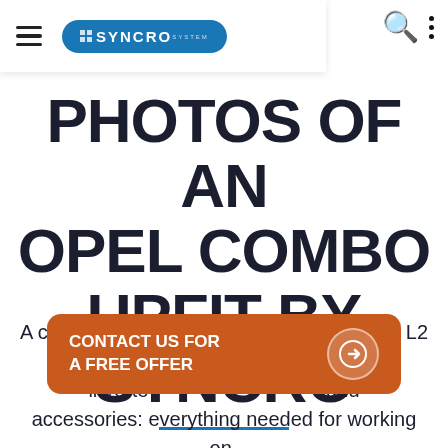Syncro System — navigation bar with hamburger menu and logo
PHOTOS OF AN OPEL COMBO UPFIT BY SYNCRO
A complete conversion on the Opel Combo L2 with various elements, 1000W power inverter, and accessories: everything needed for working on-site in road construction.
[Figure (other): Orange CTA button: CONTACT US FOR A FREE OFFER with right arrow icon]